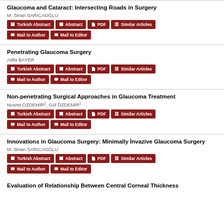Glaucoma and Cataract: Intersecting Roads in Surgery
M. Sinan SARICAOĞLU
Penetrating Glaucoma Surgery
Atilla BAYER
Non-penetrating Surgical Approaches in Glaucoma Treatment
Nusret ÖZDEMİR¹, Gül ÖZDEMİR¹
Innovations in Glaucoma Surgery: Minimally İnvazive Glaucoma Surgery
M. Sinan SARICAOĞLU
Evaluation of Relationship Between Central Corneal Thickness